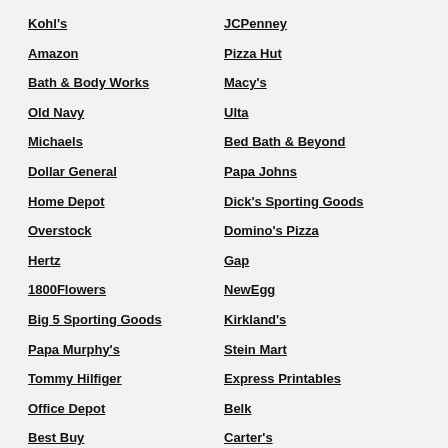Kohl's
Amazon
Bath & Body Works
Old Navy
Michaels
Dollar General
Home Depot
Overstock
Hertz
1800Flowers
Big 5 Sporting Goods
Papa Murphy's
Tommy Hilfiger
Office Depot
Best Buy
Subway
Puma
Petsmart
JCPenney
Pizza Hut
Macy's
Ulta
Bed Bath & Beyond
Papa Johns
Dick's Sporting Goods
Domino's Pizza
Gap
NewEgg
Kirkland's
Stein Mart
Express Printables
Belk
Carter's
Hotels.com
Cabela's
View All Stores